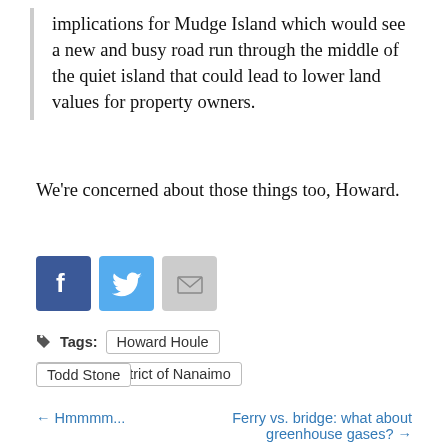implications for Mudge Island which would see a new and busy road run through the middle of the quiet island that could lead to lower land values for property owners.
We're concerned about those things too, Howard.
[Figure (other): Social media share icons: Facebook, Twitter, Email]
Tags: Howard Houle | Regional District of Nanaimo | Todd Stone
← Hmmmm...   Ferry vs. bridge: what about greenhouse gases? →